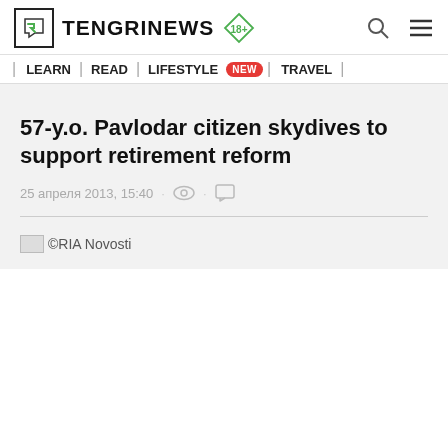TENGRINEWS 18+
| LEARN | READ | LIFESTYLE NEW | TRAVEL |
57-y.o. Pavlodar citizen skydives to support retirement reform
25 апреля 2013, 15:40
©RIA Novosti